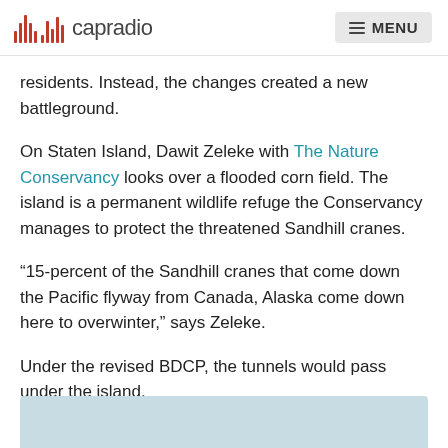capradio  MENU
residents. Instead, the changes created a new battleground.
On Staten Island, Dawit Zeleke with The Nature Conservancy looks over a flooded corn field. The island is a permanent wildlife refuge the Conservancy manages to protect the threatened Sandhill cranes.
“15-percent of the Sandhill cranes that come down the Pacific flyway from Canada, Alaska come down here to overwinter,” says Zeleke.
Under the revised BDCP, the tunnels would pass under the island.
[Figure (photo): Partial image visible at bottom of page, appears to be a landscape/field photo]